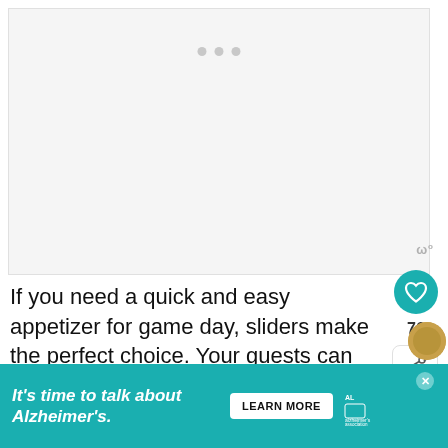[Figure (photo): Large food/recipe image placeholder, white/light gray background with three dots indicating a slideshow carousel]
If you need a quick and easy appetizer for game day, sliders make the perfect choice. Your guests can enjoy these tasty game day sliders while ke... u...
[Figure (other): Advertisement banner: It's time to talk about Alzheimer's. with a Learn More button and Alzheimer's Association logo]